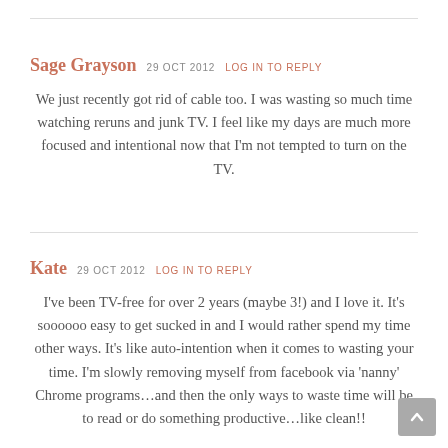Sage Grayson 29 OCT 2012 LOG IN TO REPLY
We just recently got rid of cable too. I was wasting so much time watching reruns and junk TV. I feel like my days are much more focused and intentional now that I'm not tempted to turn on the TV.
Kate 29 OCT 2012 LOG IN TO REPLY
I've been TV-free for over 2 years (maybe 3!) and I love it. It's soooooo easy to get sucked in and I would rather spend my time other ways. It's like auto-intention when it comes to wasting your time. I'm slowly removing myself from facebook via 'nanny' Chrome programs…and then the only ways to waste time will be to read or do something productive…like clean!!